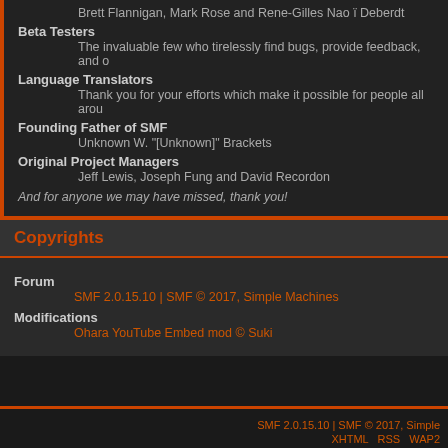Brett Flannigan, Mark Rose and Rene-Gilles Nao ï Deberdt
Beta Testers
The invaluable few who tirelessly find bugs, provide feedback, and o...
Language Translators
Thank you for your efforts which make it possible for people all arou...
Founding Father of SMF
Unknown W. "[Unknown]" Brackets
Original Project Managers
Jeff Lewis, Joseph Fung and David Recordon
And for anyone we may have missed, thank you!
Copyrights
Forum
SMF 2.0.15.10 | SMF © 2017, Simple Machines
Modifications
Ohara YouTube Embed mod © Suki
SMF 2.0.15.10 | SMF © 2017, Simple  XHTML  RSS  WAP2  Page created in 0.049 seconds with